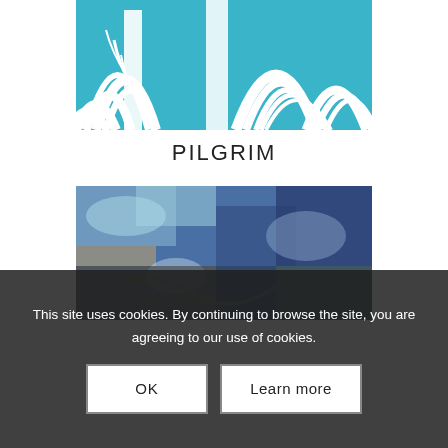[Figure (illustration): Close-up decorative art print with white curved/arch shapes on a teal/turquoise blue background, resembling stylized plant or fan motifs.]
PILGRIM
[Figure (illustration): Textured artwork with shades of blue, light blue, and gold/ochre, resembling an impressionistic landscape or abstract painted texture.]
This site uses cookies. By continuing to browse the site, you are agreeing to our use of cookies.
OK   Learn more